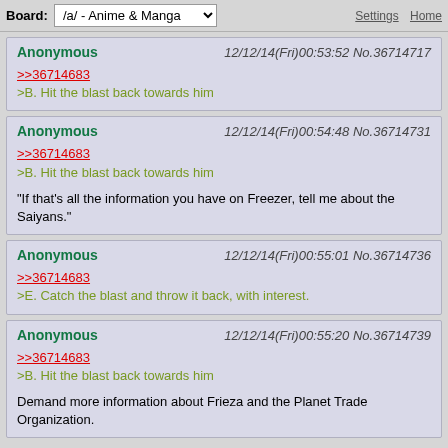Board: /a/ - Anime & Manga | Settings | Home
Anonymous 12/12/14(Fri)00:53:52 No.36714717
>>36714683
>B. Hit the blast back towards him
Anonymous 12/12/14(Fri)00:54:48 No.36714731
>>36714683
>B. Hit the blast back towards him
"If that's all the information you have on Freezer, tell me about the Saiyans."
Anonymous 12/12/14(Fri)00:55:01 No.36714736
>>36714683
>E. Catch the blast and throw it back, with interest.
Anonymous 12/12/14(Fri)00:55:20 No.36714739
>>36714683
>B. Hit the blast back towards him
Demand more information about Frieza and the Planet Trade Organization.